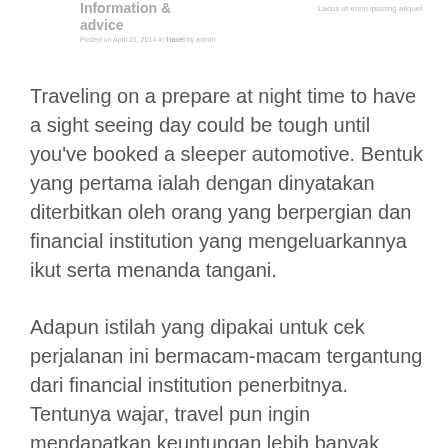Information & advice
Posted on April 21, 2014 in Travel by admin
Lacus ut enim ipiscing aliquet
Traveling on a prepare at night time to have a sight seeing day could be tough until you've booked a sleeper automotive. Bentuk yang pertama ialah dengan dinyatakan diterbitkan oleh orang yang berpergian dan financial institution yang mengeluarkannya ikut serta menanda tangani.
Adapun istilah yang dipakai untuk cek perjalanan ini bermacam-macam tergantung dari financial institution penerbitnya. Tentunya wajar, travel pun ingin mendapatkan keuntungan lebih banyak dengan mengangkut banyak penumpang dalam setiap keberangkatannya. Press the play button and listen to the gorgeous and coronary heart-felt music from my